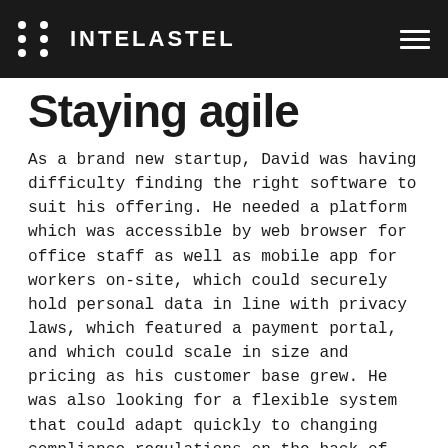INTELASTEL
Staying agile
As a brand new startup, David was having difficulty finding the right software to suit his offering. He needed a platform which was accessible by web browser for office staff as well as mobile app for workers on-site, which could securely hold personal data in line with privacy laws, which featured a payment portal, and which could scale in size and pricing as his customer base grew. He was also looking for a flexible system that could adapt quickly to changing compliance regulations on the back of Health and Safety Executive (HSE) releases.
David also investigated two bespoke software